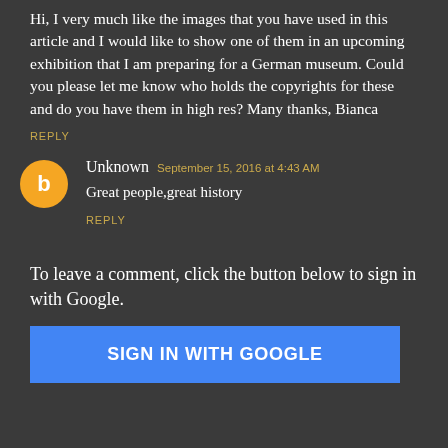Hi, I very much like the images that you have used in this article and I would like to show one of them in an upcoming exhibition that I am preparing for a German museum. Could you please let me know who holds the copyrights for these and do you have them in high res? Many thanks, Bianca
REPLY
Unknown  September 15, 2016 at 4:43 AM
Great people,great history
REPLY
To leave a comment, click the button below to sign in with Google.
SIGN IN WITH GOOGLE